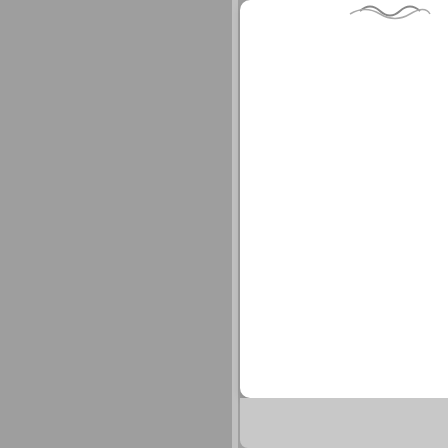[Figure (logo): Decorative ornament logo at top of first white card (partially visible)]
m
O
w
in
ha
ch
[Figure (logo): Youtab Teb Pars Production and Packaging Company logo — green gradient background with cyan figure, green company name, blue tagline]
Th
be
co
of
tr
w
w
th
ho